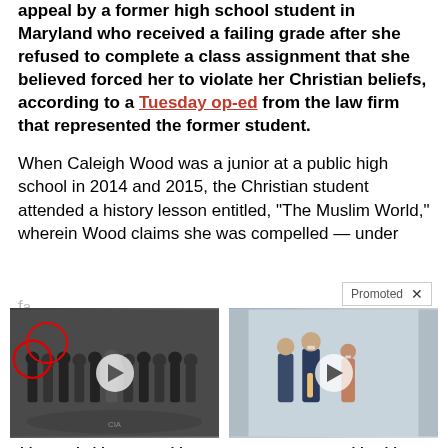appeal by a former high school student in Maryland who received a failing grade after she refused to complete a class assignment that she believed forced her to violate her Christian beliefs, according to a Tuesday op-ed from the law firm that represented the former student.
When Caleigh Wood was a junior at a public high school in 2014 and 2015, the Christian student attended a history lesson entitled, "The Muslim World," wherein Wood claims she was compelled — under the threat of failing grade — to recite prayers from a religion she did not believe in.
[Figure (screenshot): Promoted ad: Biden Probably Wants This Video Destroyed — US Dollar On Path Towards Replacement? with thumbnail image of group of people in suits at CIA headquarters with a red circle highlighting one person.]
[Figure (screenshot): Promoted ad: Democrats Want This Video Destroyed — Watch Now Before It's Banned with thumbnail of Biden and Harris walking.]